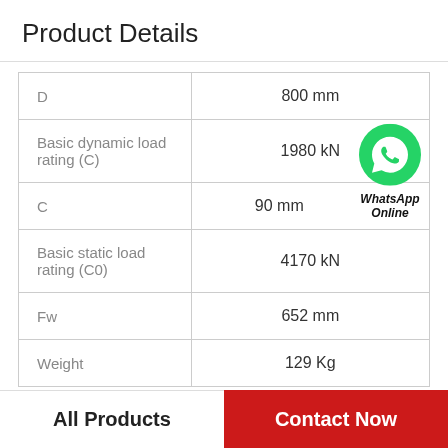Product Details
| Property | Value |
| --- | --- |
| D | 800 mm |
| Basic dynamic load rating (C) | 1980 kN |
| C | 90 mm |
| Basic static load rating (C0) | 4170 kN |
| Fw | 652 mm |
| Weight | 129 Kg |
[Figure (logo): WhatsApp Online green phone icon with label 'WhatsApp Online']
All Products
Contact Now